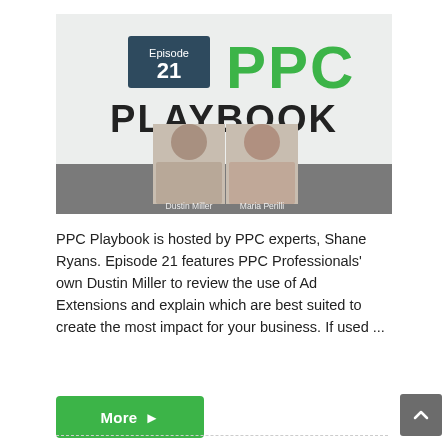[Figure (illustration): PPC Playbook Episode 21 podcast cover image showing Episode 21 label in dark teal box, large green 'PPC' text, bold black 'PLAYBOOK' text, and two host photos labeled 'Dustin Miller' and 'Maria Perilli' below on a gray bar, on a light gray background]
PPC Playbook is hosted by PPC experts, Shane Ryans. Episode 21 features PPC Professionals' own Dustin Miller to review the use of Ad Extensions and explain which are best suited to create the most impact for your business. If used ...
More ▶